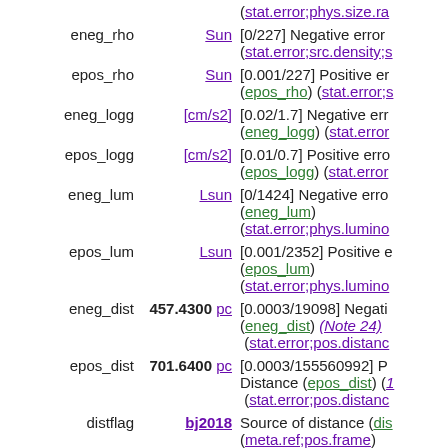| Name | Unit | Description |
| --- | --- | --- |
|  |  | (stat.error;phys.size.ra… |
| eneg_rho | Sun | [0/227] Negative error (stat.error;src.density;s… |
| epos_rho | Sun | [0.001/227] Positive er… (epos_rho) (stat.error;s… |
| eneg_logg | [cm/s2] | [0.02/1.7] Negative err… (eneg_logg) (stat.error… |
| epos_logg | [cm/s2] | [0.01/0.7] Positive erro… (epos_logg) (stat.error… |
| eneg_lum | Lsun | [0/1424] Negative erro… (eneg_lum) (stat.error;phys.lumino… |
| epos_lum | Lsun | [0.001/2352] Positive e… (epos_lum) (stat.error;phys.lumino… |
| eneg_dist | 457.4300 pc | [0.0003/19098] Negati… (eneg_dist) (Note 24) (stat.error;pos.distanc… |
| epos_dist | 701.6400 pc | [0.0003/155560992] P… Distance (epos_dist) (1… (stat.error;pos.distanc… |
| distflag | bj2018 | Source of distance (dis… (meta.ref;pos.frame) |